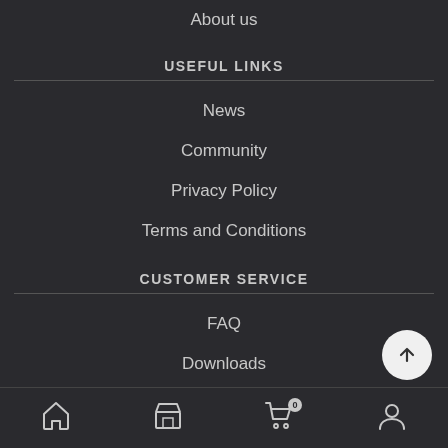About us
USEFUL LINKS
News
Community
Privacy Policy
Terms and Conditions
CUSTOMER SERVICE
FAQ
Downloads
Home | Store | Cart (0) | Account